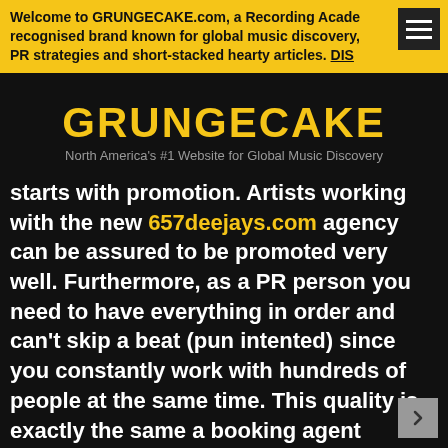Welcome to GRUNGECAKE.com, a Recording Academy recognised brand known for global music discovery, PR strategies and short-stacked hearty articles. DIS
GRUNGECAKE
North America's #1 Website for Global Music Discovery
starts with promotion. Artists working with the new 657deejays.com agency can be assured to be promoted very well. Furthermore, as a PR person you need to have everything in order and can't skip a beat (pun intented) since you constantly work with hundreds of people at the same time. This quality is exactly the same a booking agent should have. I have plans to extend the Hammarica brand in even more directions, but everything at its own time.